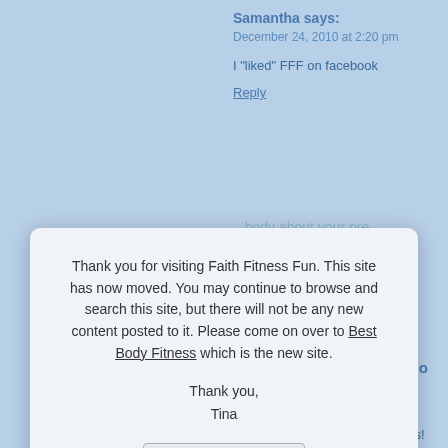Samantha says:
December 24, 2010 at 2:20 pm
I "liked" FFF on facebook
Reply
Thank you for visiting Faith Fitness Fun. This site has now moved. You may continue to browse and search this site, but there will not be any new content posted to it. Please come on over to Best Body Fitness which is the new site.

Thank you,
Tina
Ok
FAITH, FITNESS, FUN » Blog Approach says:
January 20, 2011 at 4:57 pm
[...] REAL journey back to fitness! Pow the Chobani! Keep those entries comin site. I hope you stick around for awhile.
Reply